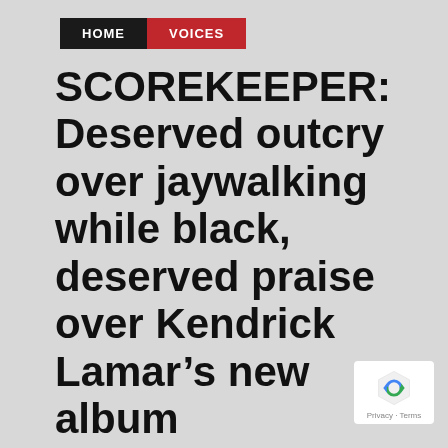HOME | VOICES
SCOREKEEPER: Deserved outcry over jaywalking while black, deserved praise over Kendrick Lamar’s new album
BY: RAHEEM HOSSEINI   APRIL 19, 2017
[Figure (infographic): Social media share icons: Facebook, Twitter, Reddit, Pinterest]
By John Flynn and Raheem F. Hosseini